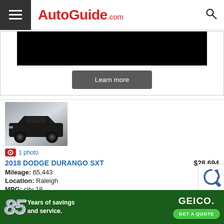AutoGuide.com
[Figure (photo): Advertisement banner with black image area and Learn more button]
[Figure (photo): 2018 Dodge Durango SXT black SUV vehicle photo]
1 photo
2018 DODGE DURANGO SXT
$28,694
Mileage: 65,443
Location: Raleigh
MPG: city 18
[Figure (photo): GEICO advertisement - 85 Years of savings and service - GET A QUOTE]